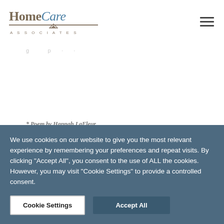Home Care Associates
* Poem by Hannah LaFleur
We use cookies on our website to give you the most relevant experience by remembering your preferences and repeat visits. By clicking "Accept All", you consent to the use of ALL the cookies. However, you may visit "Cookie Settings" to provide a controlled consent.